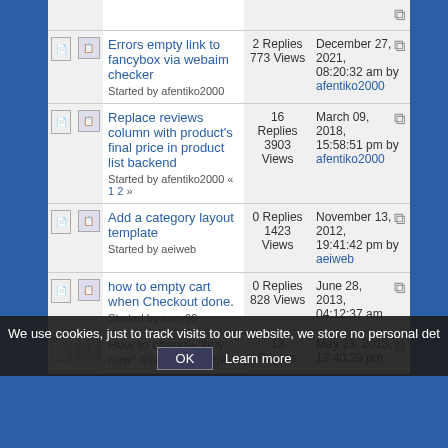|  |  | Topic | Stats | Last Post |
| --- | --- | --- | --- | --- |
|  |  | Errors empty link to fancybox via webaim checker
Started by afentiko2000 | 2 Replies
773 Views | December 27, 2021, 08:20:32 am
by afentiko2000 |
|  |  | Replace reviews column with product's final price in product list backend
Started by afentiko2000 « 1 2 » | 16 Replies
3903 Views | March 09, 2018, 15:58:51 pm
by afentiko2000 |
|  |  | Add a category layout template
Started by aeiweb | 0 Replies
1423 Views | November 13, 2012, 19:41:42 pm
by aeiweb |
|  |  | how to empty cart when Checkout done.
Started by aeey99 | 0 Replies
828 Views | June 28, 2013, 04:12:37 am
by aeey99 |
|  |  | How to change "buy now" from Cart page | 13 Replies | May 13, 2013, 13:40:20 pm |
We use cookies, just to track visits to our website, we store no personal det
OK  Learn more